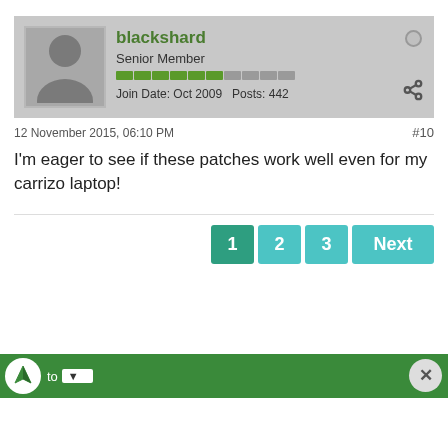blackshard
Senior Member
Join Date: Oct 2009   Posts: 442
12 November 2015, 06:10 PM
#10
I'm eager to see if these patches work well even for my carrizo laptop!
1  2  3  Next